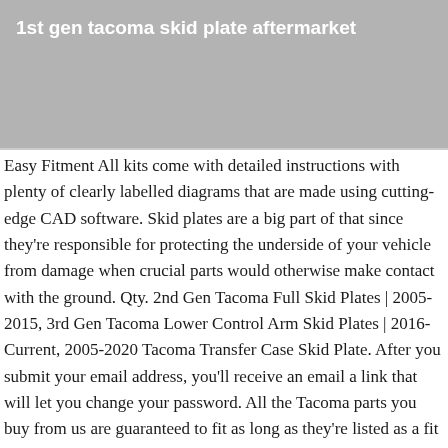1st gen tacoma skid plate aftermarket
[Figure (photo): Gray placeholder image area below the header banner]
Easy Fitment All kits come with detailed instructions with plenty of clearly labelled diagrams that are made using cutting-edge CAD software. Skid plates are a big part of that since they're responsible for protecting the underside of your vehicle from damage when crucial parts would otherwise make contact with the ground. Qty. 2nd Gen Tacoma Full Skid Plates | 2005-2015, 3rd Gen Tacoma Lower Control Arm Skid Plates | 2016-Current, 2005-2020 Tacoma Transfer Case Skid Plate. After you submit your email address, you'll receive an email a link that will let you change your password. All the Tacoma parts you buy from us are guaranteed to fit as long as they're listed as a fit for your vehicle. Compare.